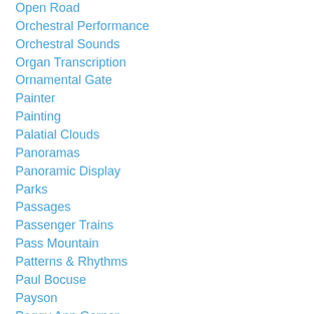Open Road
Orchestral Performance
Orchestral Sounds
Organ Transcription
Ornamental Gate
Painter
Painting
Palatial Clouds
Panoramas
Panoramic Display
Parks
Passages
Passenger Trains
Pass Mountain
Patterns & Rhythms
Paul Bocuse
Payson
Peggy Ann Garner
Pen & Ink
Pen & Ink
Pen & Ink Detail